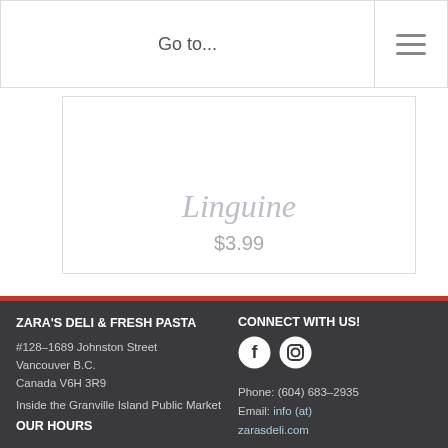Go to...
[Figure (illustration): Product card showing cursive text 'Linguine' and price '$3.99' on white background]
ZARA'S DELI & FRESH PASTA
#128–1689 Johnston Street
Vancouver B.C.
Canada V6H 3R9
Inside the Granville Island Public Market
OUR HOURS
CONNECT WITH US!
Phone: (604) 683–2935
Email: info (at) zarasdeli.com